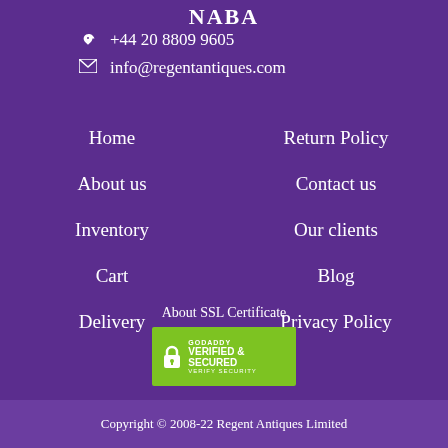NABA
+44 20 8809 9605
info@regentantiques.com
Home
Return Policy
About us
Contact us
Inventory
Our clients
Cart
Blog
Delivery
Privacy Policy
About SSL Certificate
[Figure (logo): GoDaddy Verified & Secured badge with lock icon]
Copyright © 2008-22 Regent Antiques Limited